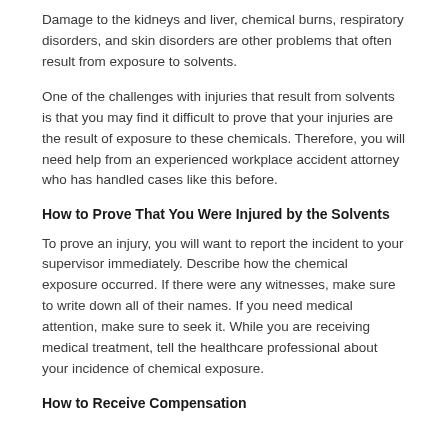Damage to the kidneys and liver, chemical burns, respiratory disorders, and skin disorders are other problems that often result from exposure to solvents.
One of the challenges with injuries that result from solvents is that you may find it difficult to prove that your injuries are the result of exposure to these chemicals. Therefore, you will need help from an experienced workplace accident attorney who has handled cases like this before.
How to Prove That You Were Injured by the Solvents
To prove an injury, you will want to report the incident to your supervisor immediately. Describe how the chemical exposure occurred. If there were any witnesses, make sure to write down all of their names. If you need medical attention, make sure to seek it. While you are receiving medical treatment, tell the healthcare professional about your incidence of chemical exposure.
How to Receive Compensation